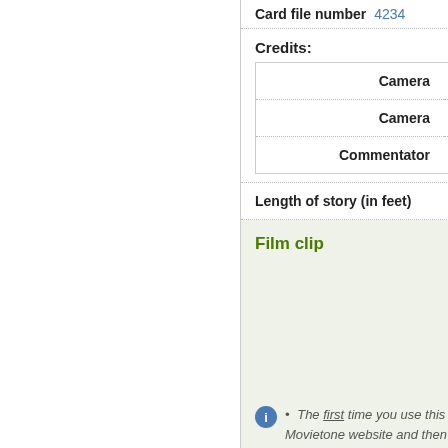Card file number 4234
Credits:
|  | Role | Person |
| --- | --- | --- |
|  | Camera | John |
|  | Camera | John |
|  | Commentator | Lesl |
Length of story (in feet) 111
Film clip
[Figure (logo): British Movietone logo — circular badge with text 'BRITISH MOVIETONE']
Movietone
The first time you use this link … Movietone website and then click … remainder of the session, this link …